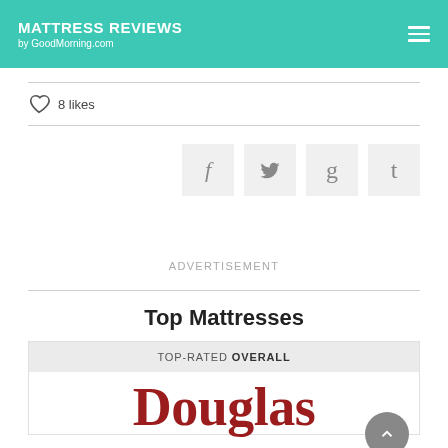MATTRESS REVIEWS by GoodMorning.com
8 likes
[Figure (infographic): Social sharing buttons: Facebook (f), Twitter (bird icon), Google+ (g), Tumblr (t)]
ADVERTISEMENT
Top Mattresses
TOP-RATED OVERALL
Douglas